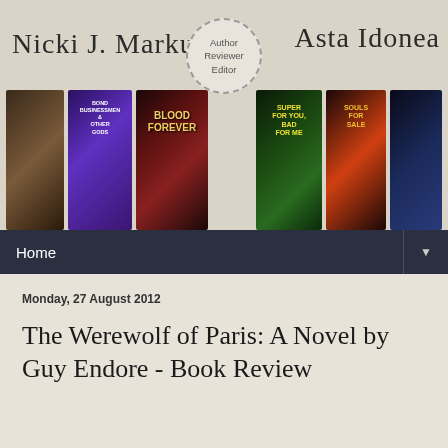[Figure (illustration): Blog header banner with cursive text 'Nicki J. Markus' on the left, 'Asta Idonea' on the right, a circular badge in the center reading 'Author Reviewer Editor', and a row of book covers along the bottom including titles: Bond, Businessmen, Other Gods; Blood Forever; Super For You Bad For Me; Souls for Sale; and others.]
Home ▼
Monday, 27 August 2012
The Werewolf of Paris: A Novel by Guy Endore - Book Review